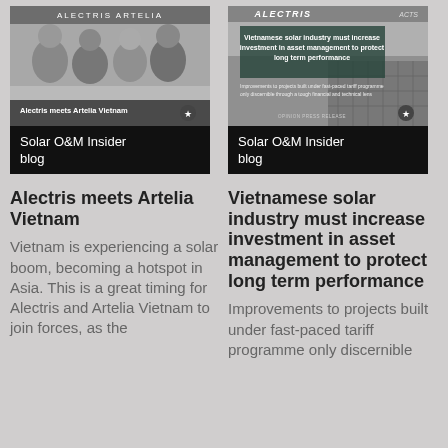[Figure (photo): Card thumbnail for 'Alectris meets Artelia Vietnam' blog post showing group photo with Alectris and Artelia logos, with 'Solar O&M Insider blog' label bar]
[Figure (photo): Card thumbnail for Vietnamese solar industry blog post with Alectris logo and ACTS tag, showing solar panel imagery and 'Solar O&M Insider blog' label bar]
Alectris meets Artelia Vietnam
Vietnamese solar industry must increase investment in asset management to protect long term performance
Vietnam is experiencing a solar boom, becoming a hotspot in Asia. This is a great timing for Alectris and Artelia Vietnam to join forces, as the
Improvements to projects built under fast-paced tariff programme only discernible